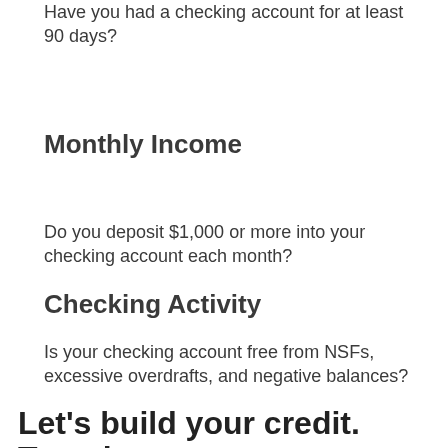Have you had a checking account for at least 90 days?
Monthly Income
Do you deposit $1,000 or more into your checking account each month?
Checking Activity
Is your checking account free from NSFs, excessive overdrafts, and negative balances?
Let's build your credit. Together.